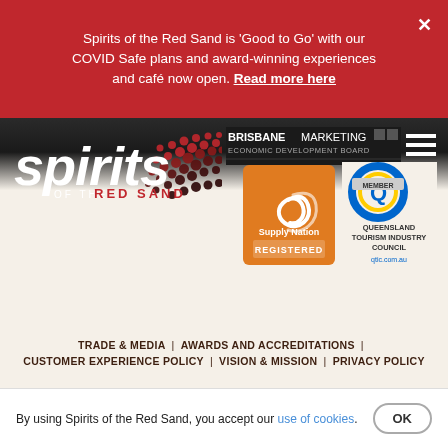Spirits of the Red Sand is 'Good to Go' with our COVID Safe plans and award-winning experiences and café now open. Read more here
[Figure (logo): Spirits of the Red Sand logo with Aboriginal dot art design — white italic text 'spirits' with 'OF THE RED SAND' below, on dark background with red dot pattern]
[Figure (logo): Brisbane Marketing Economic Development Board logo]
[Figure (logo): Supply Nation Registered badge — orange square with Supply Nation logo and text 'REGISTERED']
[Figure (logo): Queensland Tourism Industry Council MEMBER badge — circular logo with MEMBER text and qtic.com.au URL]
TRADE & MEDIA | AWARDS AND ACCREDITATIONS | CUSTOMER EXPERIENCE POLICY | VISION & MISSION | PRIVACY POLICY
By using Spirits of the Red Sand, you accept our use of cookies.